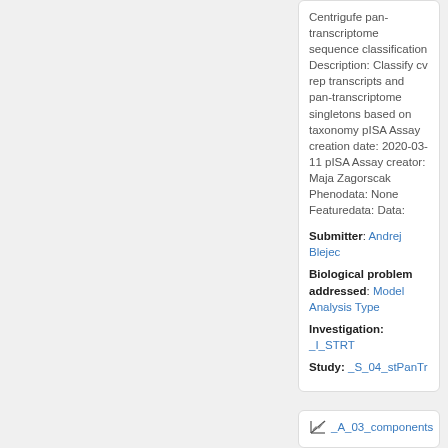Centrigufe pan-transcriptome sequence classification Description: Classify cv rep transcripts and pan-transcriptome singletons based on taxonomy pISA Assay creation date: 2020-03-11 pISA Assay creator: Maja Zagorscak Phenodata: None Featuredata: Data:
Submitter: Andrej Blejec
Biological problem addressed: Model Analysis Type
Investigation: _I_STRT
Study: _S_04_stPanTr
_A_03_components